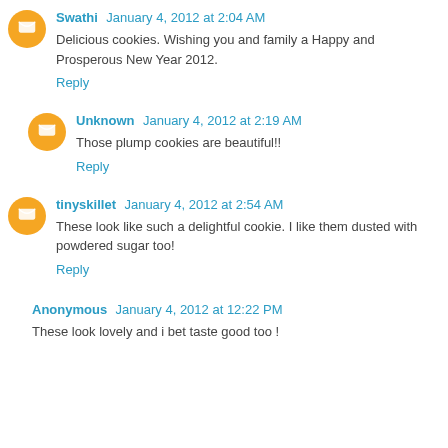Swathi January 4, 2012 at 2:04 AM
Delicious cookies. Wishing you and family a Happy and Prosperous New Year 2012.
Reply
Unknown January 4, 2012 at 2:19 AM
Those plump cookies are beautiful!!
Reply
tinyskillet January 4, 2012 at 2:54 AM
These look like such a delightful cookie. I like them dusted with powdered sugar too!
Reply
Anonymous January 4, 2012 at 12:22 PM
These look lovely and i bet taste good too !